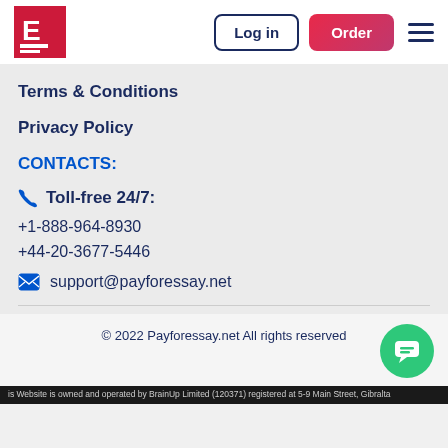[Figure (logo): PayForEssay logo with red background and white E letter]
Log in
Order
Terms & Conditions
Privacy Policy
CONTACTS:
Toll-free 24/7:
+1-888-964-8930
+44-20-3677-5446
support@payforessay.net
© 2022 Payforessay.net All rights reserved
is Website is owned and operated by BrainUp Limited (120371) registered at 5-9 Main Street, Gibralta